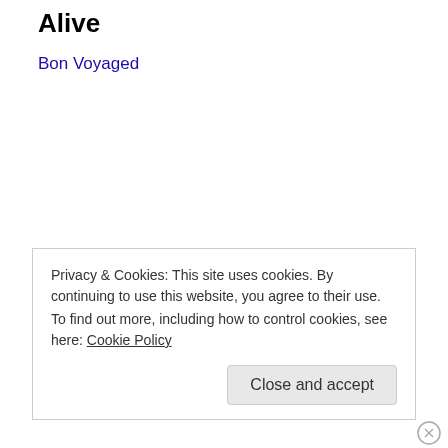Alive
Bon Voyaged
Privacy & Cookies: This site uses cookies. By continuing to use this website, you agree to their use.
To find out more, including how to control cookies, see here: Cookie Policy
Close and accept